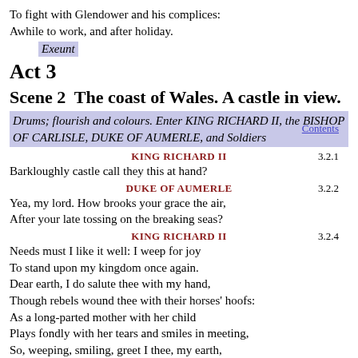To fight with Glendower and his complices:
Awhile to work, and after holiday.
Exeunt
Act 3
Scene 2  The coast of Wales. A castle in view.
Drums; flourish and colours. Enter KING RICHARD II, the BISHOP OF CARLISLE, DUKE OF AUMERLE, and Soldiers
KING RICHARD II
Barkloughly castle call they this at hand?
DUKE OF AUMERLE
Yea, my lord. How brooks your grace the air,
After your late tossing on the breaking seas?
KING RICHARD II
Needs must I like it well: I weep for joy
To stand upon my kingdom once again.
Dear earth, I do salute thee with my hand,
Though rebels wound thee with their horses' hoofs:
As a long-parted mother with her child
Plays fondly with her tears and smiles in meeting,
So, weeping, smiling, greet I thee, my earth,
And do thee favours with my royal hands.
Feed not thy sovereign's foe, my gentle earth,